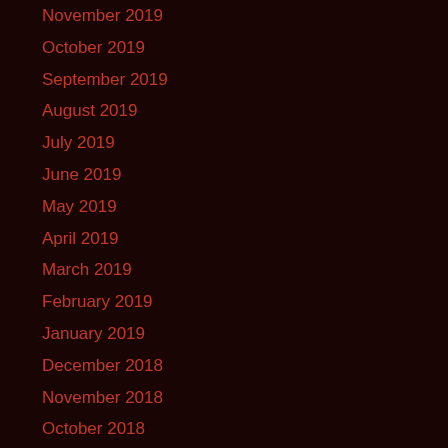November 2019
October 2019
September 2019
August 2019
July 2019
June 2019
May 2019
April 2019
March 2019
February 2019
January 2019
December 2018
November 2018
October 2018
September 2018